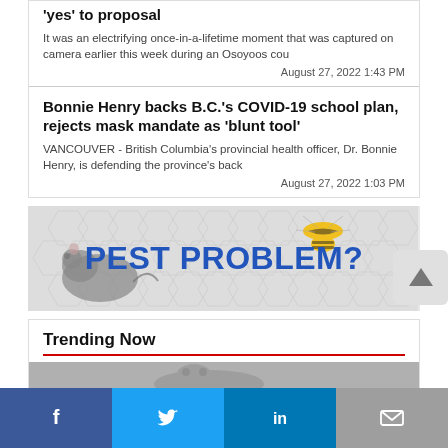'yes' to proposal
It was an electrifying once-in-a-lifetime moment that was captured on camera earlier this week during an Osoyoos cou
August 27, 2022 1:43 PM
Bonnie Henry backs B.C.'s COVID-19 school plan, rejects mask mandate as 'blunt tool'
VANCOUVER - British Columbia's provincial health officer, Dr. Bonnie Henry, is defending the province's back
August 27, 2022 1:03 PM
[Figure (infographic): Pest control advertisement banner showing a rat on the left, a wasp on the upper right, hexagonal background pattern, and bold blue text reading PEST PROBLEM?]
Trending Now
[Figure (photo): Partial image strip at bottom of trending section, appears to show a dog]
Facebook  Twitter  LinkedIn  Mail share buttons